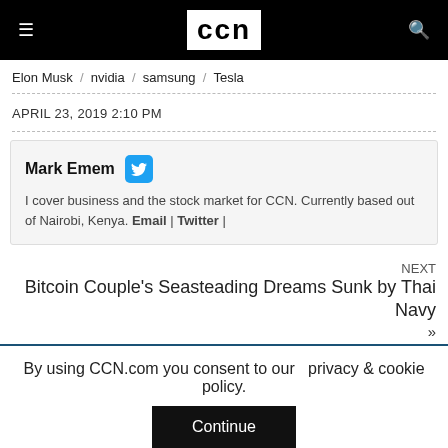CCN
Elon Musk / nvidia / samsung / Tesla
APRIL 23, 2019 2:10 PM
Mark Emem
I cover business and the stock market for CCN. Currently based out of Nairobi, Kenya. Email | Twitter |
NEXT
Bitcoin Couple's Seasteading Dreams Sunk by Thai Navy
»
By using CCN.com you consent to our  privacy & cookie policy.
Continue